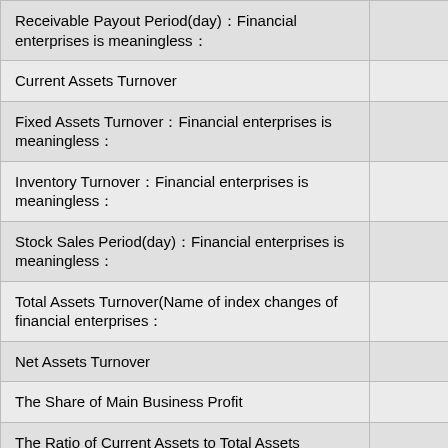| Metric |  |
| --- | --- |
| Receivable Payout Period(day)：Financial enterprises is meaningless： |  |
| Current Assets Turnover |  |
| Fixed Assets Turnover：Financial enterprises is meaningless： |  |
| Inventory Turnover：Financial enterprises is meaningless： |  |
| Stock Sales Period(day)：Financial enterprises is meaningless： |  |
| Total Assets Turnover(Name of index changes of financial enterprises： |  |
| Net Assets Turnover |  |
| The Share of Main Business Profit |  |
| The Ratio of Current Assets to Total Assets |  |
| Financial Capability |  |
| Liability-asset Ratio |  |
| Capitalization Ratio |  |
| Capital Immobilized Ratio |  |
| Capital Turnover |  |
| Fixed Assets to Long Term Debt |  |